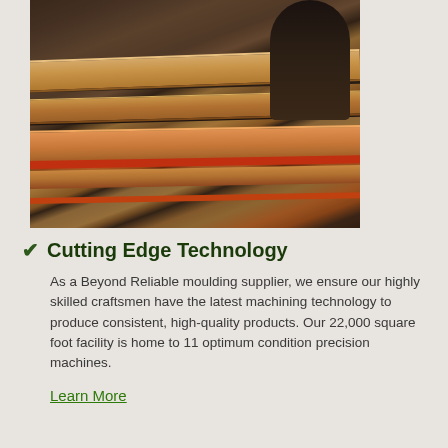[Figure (photo): A worker in a woodworking facility handling long lumber boards on a conveyor/roller system with industrial machinery in the background. The boards are being processed through what appears to be a moulding production line.]
✔ Cutting Edge Technology
As a Beyond Reliable moulding supplier, we ensure our highly skilled craftsmen have the latest machining technology to produce consistent, high-quality products. Our 22,000 square foot facility is home to 11 optimum condition precision machines.
Learn More